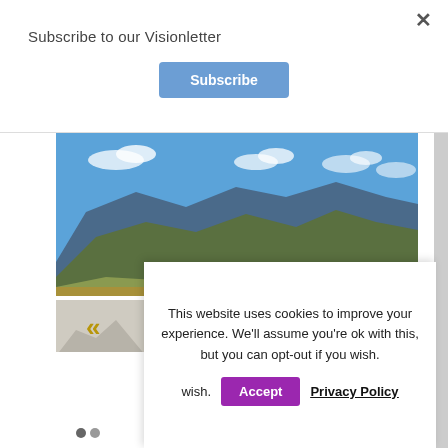Subscribe to our Visionletter
Subscribe
[Figure (photo): Landscape photograph of a mountain range under a blue sky with scattered clouds, with a valley visible in the foreground.]
This website uses cookies to improve your experience. We'll assume you're ok with this, but you can opt-out if you wish. Accept   Privacy Policy